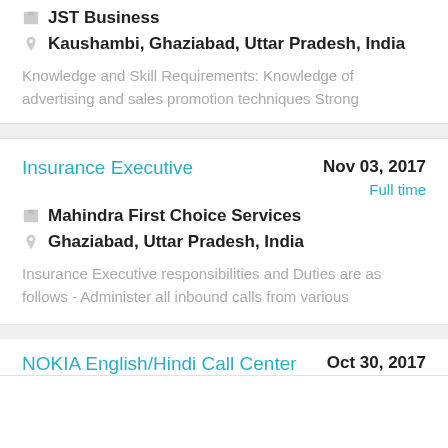JST Business
Kaushambi, Ghaziabad, Uttar Pradesh, India
Knowledge and Skill Requirements: Knowledge of advertising and sales promotion techniques Strong
Insurance Executive
Nov 03, 2017
Full time
Mahindra First Choice Services
Ghaziabad, Uttar Pradesh, India
Insurance Executive responsibilities and Duties are as follows - Administer all inbound calls from various
NOKIA English/Hindi Call Center
Oct 30, 2017